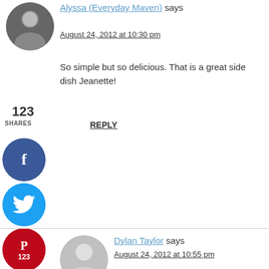Alyssa (Everyday Maven) says
August 24, 2012 at 10:30 pm
So simple but so delicious. That is a great side dish Jeanette!
REPLY
[Figure (other): Social share buttons: Facebook (blue circle with f), Twitter (light blue circle with bird), Pinterest (red circle with P and count 123), Yummly (orange circle with Yum text). Share count 123 displayed above.]
[Figure (photo): Gray placeholder avatar circle for Dylan Taylor]
Dylan Taylor says
August 24, 2012 at 10:55 pm
Tomorrow I'm going to make the hell out of this, thanks for reminding me of this simple recipe!
REPLY